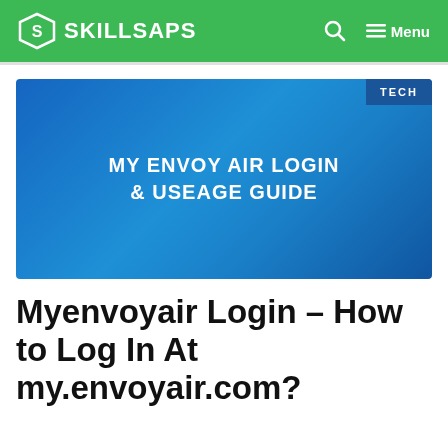SKILLSAPS
[Figure (illustration): Blue gradient banner image with white bold text reading 'MY ENVOY AIR LOGIN & USEAGE GUIDE' and a 'TECH' badge in the top right corner.]
Myenvoyair Login – How to Log In At my.envoyair.com?